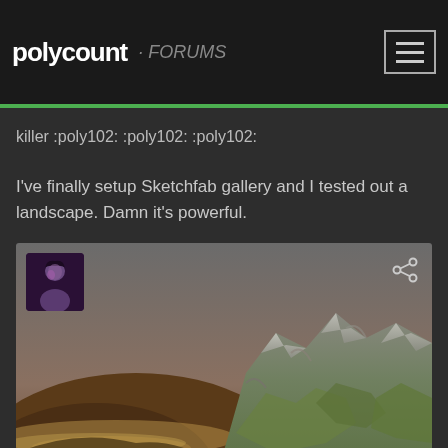polycount
killer :poly102: :poly102: :poly102:
I've finally setup Sketchfab gallery and I tested out a landscape. Damn it's powerful.
[Figure (screenshot): Sketchfab embedded 3D landscape viewer showing mountainous terrain with green vegetation and rocky peaks against a grey-brown sky. An avatar thumbnail is visible in the top-left and a share icon in the top-right.]